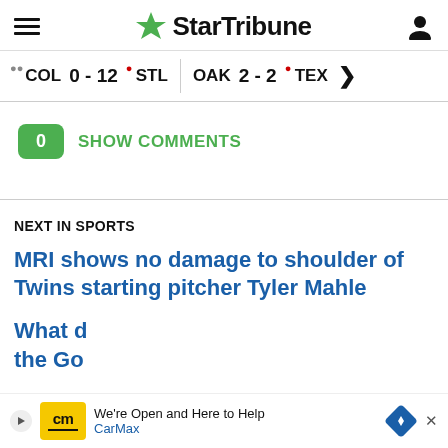StarTribune
COL 0 - 12 STL | OAK 2 - 2 TEX
0  SHOW COMMENTS
NEXT IN SPORTS
MRI shows no damage to shoulder of Twins starting pitcher Tyler Mahle
What d... n for the Go...
[Figure (infographic): CarMax advertisement banner at bottom of page reading 'We're Open and Here to Help CarMax']